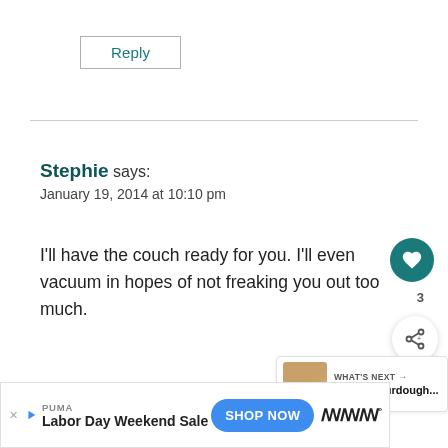Reply
Stephie says:
January 19, 2014 at 10:10 pm
I'll have the couch ready for you. I'll even vacuum in hopes of not freaking you out too much.
Reply
[Figure (other): What's Next widget showing Rustic Sourdough article thumbnail]
PUMA Labor Day Weekend Sale SHOP NOW